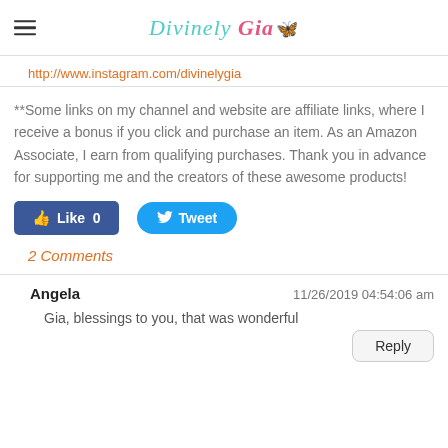Divinely Gia (logo)
http://www.instagram.com/divinelygia
**Some links on my channel and website are affiliate links, where I receive a bonus if you click and purchase an item. As an Amazon Associate, I earn from qualifying purchases. Thank you in advance for supporting me and the creators of these awesome products!
[Figure (other): Facebook Like button showing count 0 and Twitter Tweet button]
2 Comments
Angela  11/26/2019 04:54:06 am
Gia, blessings to you, that was wonderful
Reply